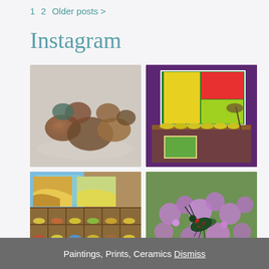1  2  Older posts >
Instagram
[Figure (photo): Four Instagram photos in a 2x2 grid: top-left shows colorful felted wool balls/pumpkins on a light floor; top-right shows a purple gallery wall with colorful abstract art and yellow ceramic bowls on a wooden shelf; bottom-left shows a wooden cubby shelf filled with small ceramic bowls and colorful landscape paintings; bottom-right shows a close-up of a green and red bug on purple flowers.]
Paintings, Prints, Ceramics Dismiss